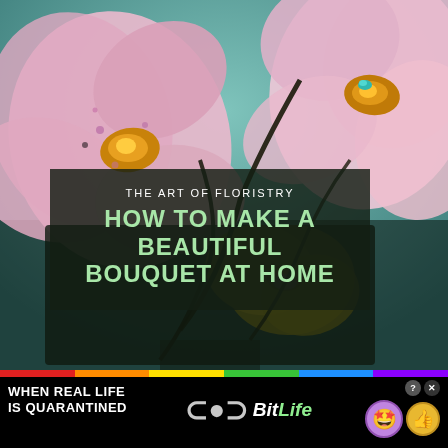[Figure (photo): Close-up photo of pink and yellow orchid flowers against a teal background, with dark stems visible]
THE ART OF FLORISTRY HOW TO MAKE A BEAUTIFUL BOUQUET AT HOME
[Figure (infographic): BitLife advertisement banner with rainbow stripe at top, text 'WHEN REAL LIFE IS QUARANTINED', BitLife logo with sperm icon, and emoji icons (star-eyes face, question mark circle, X, thumbs-up emoji)]